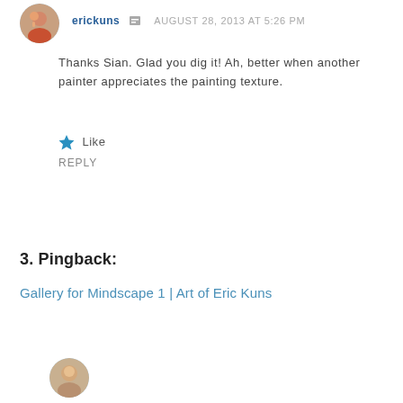[Figure (photo): Circular avatar photo of a person (reddish/orange hair, hand near face), top left area]
erickuns  AUGUST 28, 2013 AT 5:26 PM
Thanks Sian. Glad you dig it! Ah, better when another painter appreciates the painting texture.
Like
REPLY
3. Pingback:
Gallery for Mindscape 1 | Art of Eric Kuns
[Figure (photo): Circular avatar photo of a baby/young child, bottom left area]